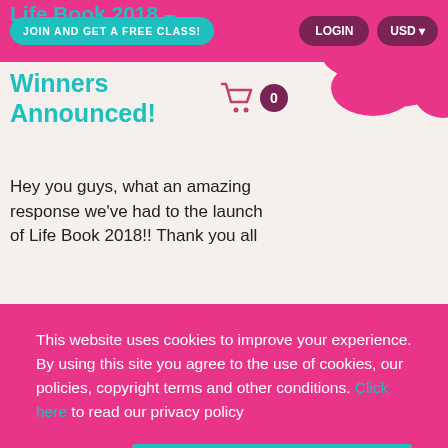Life Book 2018 – Winners Announced!
JOIN AND GET A FREE CLASS!  LOGIN  USD
Hey you guys, what an amazing response we've had to the launch of Life Book 2018!! Thank you all
This website uses cookies to improve your experience. By using this site you agree to the use of cookies, our policies, copyright terms and other conditions. Click here to read our privacy policy
Decline
Accept
wishes and Read More